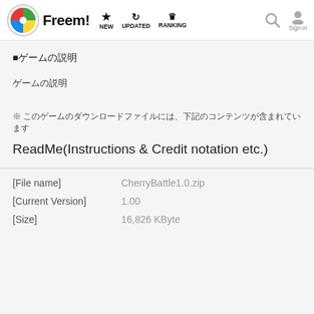Freem! NEW UPDATED RANKING Sign in
■ゲームの説明
ゲームの説明
※ このゲームのダウンロードファイルには、下記のコンテンツが含まれています
ReadMe(Instructions & Credit notation etc.)
| Field | Value |
| --- | --- |
| [File name] | CherryBattle1.0.zip |
| [Current Version] | 1.00 |
| [Size] | 16,826 KByte |